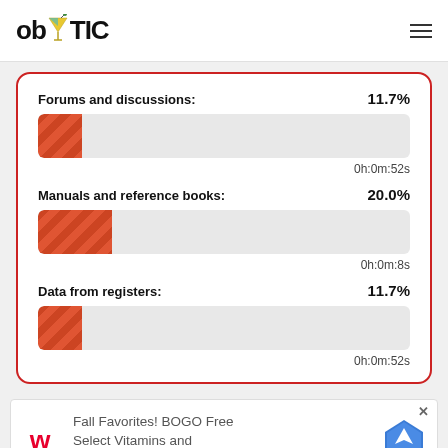obYTIC
[Figure (infographic): Progress bars showing percentage and time for three categories: Forums and discussions 11.7% 0h:0m:52s, Manuals and reference books 20.0% 0h:0m:8s, Data from registers 11.7% 0h:0m:52s]
[Figure (infographic): Advertisement banner: Walgreens - Fall Favorites! BOGO Free Select Vitamins and Supplements]